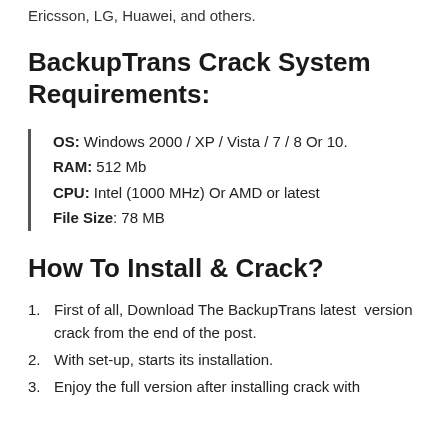Ericsson, LG, Huawei, and others.
BackupTrans Crack System Requirements:
OS: Windows 2000 / XP / Vista / 7 / 8 Or 10.
RAM: 512 Mb
CPU: Intel (1000 MHz) Or AMD or latest
File Size: 78 MB
How To Install & Crack?
First of all, Download The BackupTrans latest version crack from the end of the post.
With set-up, starts its installation.
Enjoy the full version after installing crack with